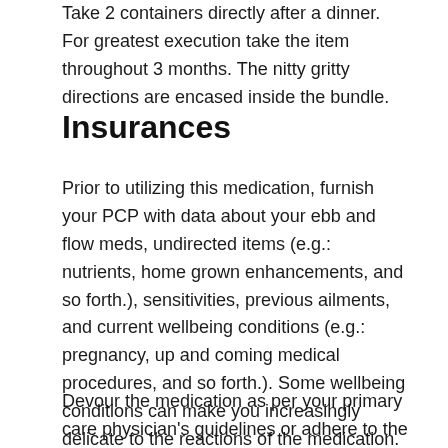Take 2 containers directly after a dinner. For greatest execution take the item throughout 3 months. The nitty gritty directions are encased inside the bundle.
Insurances
Prior to utilizing this medication, furnish your PCP with data about your ebb and flow meds, undirected items (e.g.: nutrients, home grown enhancements, and so forth.), sensitivities, previous ailments, and current wellbeing conditions (e.g.: pregnancy, up and coming medical procedures, and so forth.). Some wellbeing conditions can make you increasingly delicate to the reactions of the medication.
Devour the medication as per your primary care physician's guidelines or adhere to the directions imprinted on the item. The measurements depends on